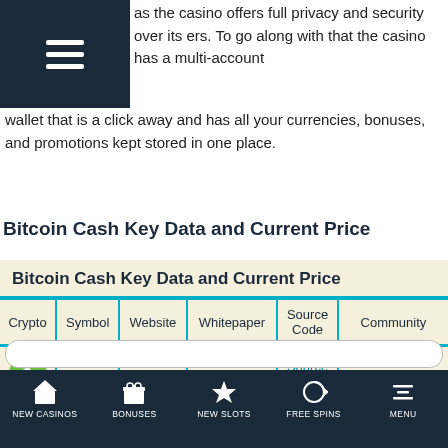Navigation menu icon (hamburger)
as the casino offers full privacy and security over its ers. To go along with that the casino has a multi-account wallet that is a click away and has all your currencies, bonuses, and promotions kept stored in one place.
Bitcoin Cash Key Data and Current Price
| Crypto | Symbol | Website | Whitepaper | Source Code | Community |
| --- | --- | --- | --- | --- | --- |
| [BCH icon] | BCH | Website | Whitepaper | Source Code | Community 21 |
NEW CASINOS | BONUSES | NEW SLOTS | FREE SPINS | MENU